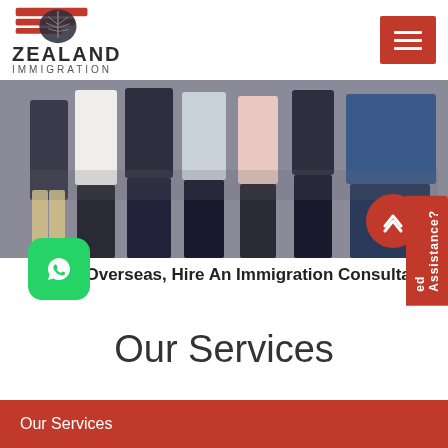[Figure (logo): Zealand Immigration logo with flag icon, bold text ZEALAND and subtitle IMMIGRATION]
[Figure (photo): Group of professionals standing together in business attire, photo cropped at waist level]
ng Overseas, Hire An Immigration Consultant
Our Services
Our Services